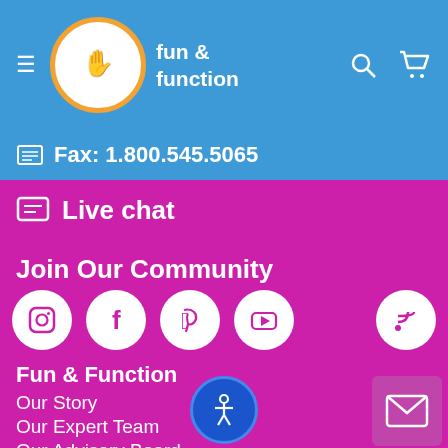Fun & Function — website header with logo, hamburger menu, search and cart icons
Fax: 1.800.545.5065
Live chat
Join Our Community
[Figure (other): Social media icon buttons: Instagram, Facebook, Pinterest, YouTube, RSS feed — white circles on magenta background]
Fun & Function
Our Story
Our Expert Team
Our Advisory Board
[Figure (other): Accessibility icon button — person in circle, blue]
[Figure (other): Mail/envelope icon button — bottom right]